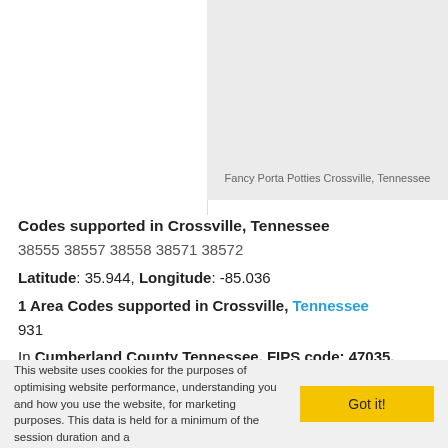[Figure (map): Map area showing Fancy Porta Potties Crossville, Tennessee region, light gray placeholder map]
Fancy Porta Potties Crossville, Tennessee
Codes supported in Crossville, Tennessee
38555 38557 38558 38571 38572
Latitude: 35.944, Longitude: -85.036
1 Area Codes supported in Crossville, Tennessee
931
In Cumberland County Tennessee, FIPS code: 47035, CBSA: 18900, Time Zone: CST
This website uses cookies for the purposes of optimising website performance, understanding you and how you use the website, for marketing purposes. This data is held for a minimum of the session duration and a